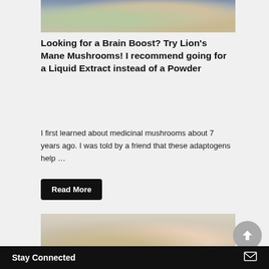[Figure (photo): Partial top view of a mushroom dish on a blue plate with garnish]
Looking for a Brain Boost? Try Lion’s Mane Mushrooms! I recommend going for a Liquid Extract instead of a Powder
I first learned about medicinal mushrooms about 7 years ago. I was told by a friend that these adaptogens help …
Read More
[Figure (photo): Two women looking down at something, one blonde one brunette in a floral top]
Stay Connected